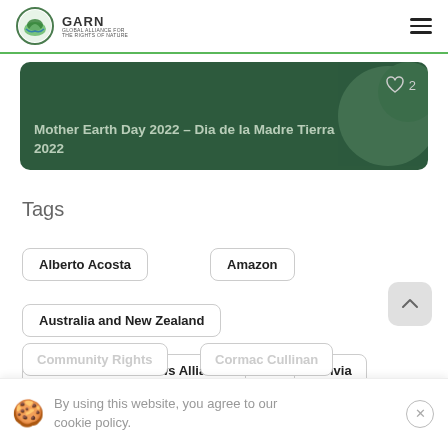GARN — Global Alliance for the Rights of Nature
[Figure (screenshot): Banner card with dark green background showing title: Mother Earth Day 2022 – Dia de la Madre Tierra 2022, with a heart/like icon showing 2 likes]
Tags
Alberto Acosta
Amazon
Australia and New Zealand
Australian Earth Laws Alliance
Bolivia
By using this website, you agree to our cookie policy.
Community Rights
Cormac Cullinan